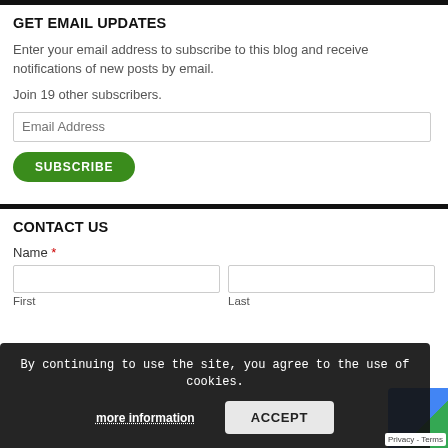GET EMAIL UPDATES
Enter your email address to subscribe to this blog and receive notifications of new posts by email.
Join 19 other subscribers.
Email Address
SUBSCRIBE
CONTACT US
Name *
First
Last
By continuing to use the site, you agree to the use of cookies.
more information
ACCEPT
Privacy - Terms